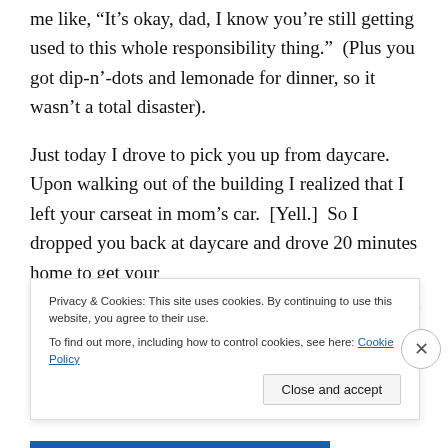me like, “It’s okay, dad, I know you’re still getting used to this whole responsibility thing.”  (Plus you got dip-n’-dots and lemonade for dinner, so it wasn’t a total disaster).
Just today I drove to pick you up from daycare.  Upon walking out of the building I realized that I left your carseat in mom’s car.  [Yell.]  So I dropped you back at daycare and drove 20 minutes home to get your
carseat before coming back.  And guess what?  You
Privacy & Cookies: This site uses cookies. By continuing to use this website, you agree to their use.
To find out more, including how to control cookies, see here: Cookie Policy